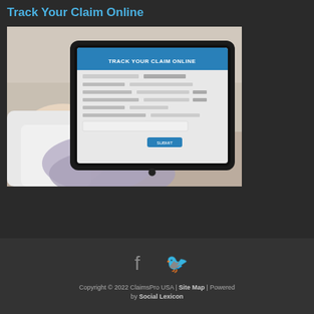Track Your Claim Online
[Figure (photo): Person's hands holding a tablet device displaying a 'Track Your Claim Online' form with a blue header, touching the screen with one finger.]
Copyright © 2022 ClaimsPro USA | Site Map | Powered by Social Lexicon